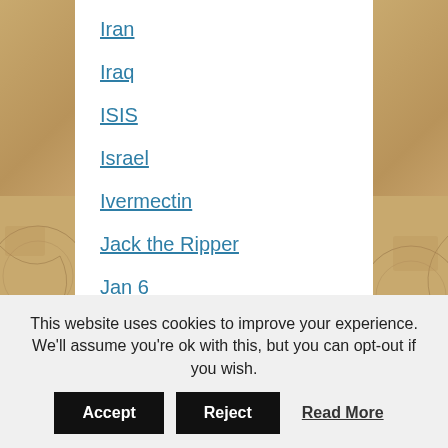Iran
Iraq
ISIS
Israel
Ivermectin
Jack the Ripper
Jan 6
JFK Assassination
Julian Assange
Khorasan
Latin America
Left v Right
This website uses cookies to improve your experience. We'll assume you're ok with this, but you can opt-out if you wish.
Accept | Reject | Read More